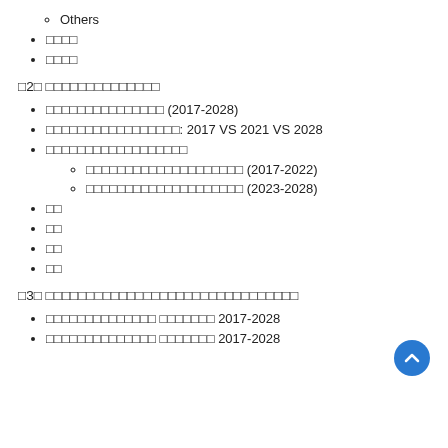Others
□□□□
□□□□
□2□ □□□□□□□□□□□□□□
□□□□□□□□□□□□□□□ (2017-2028)
□□□□□□□□□□□□□□□□□: 2017 VS 2021 VS 2028
□□□□□□□□□□□□□□□□□□
□□□□□□□□□□□□□□□□□□□□ (2017-2022)
□□□□□□□□□□□□□□□□□□□□ (2023-2028)
□□
□□
□□
□□
□3□ □□□□□□□□□□□□□□□□□□□□□□□□□□□
□□□□□□□□□□□□□□ □□□□□□□ 2017-2028
□□□□□□□□□□□□□□ □□□□□□□ 2017-2028